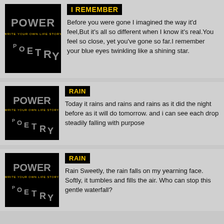[Figure (illustration): Power of Poetry book cover thumbnail - black background with stylized text]
I REMEMBER
Before you were gone I imagined the way it'd feel,But it's all so different when I know it's real.You feel so close, yet you've gone so far.I remember your blue eyes twinkling like a shining star.
[Figure (illustration): Power of Poetry book cover thumbnail - black background with stylized text]
RAIN
Today it rains and rains and rains as it did the night before as it will do tomorrow. and i can see each drop steadily falling with purpose
[Figure (illustration): Power of Poetry book cover thumbnail - black background with stylized text]
RAIN
Rain Sweetly, the rain falls on my yearning face. Softly, it tumbles and fills the air. Who can stop this gentle waterfall?